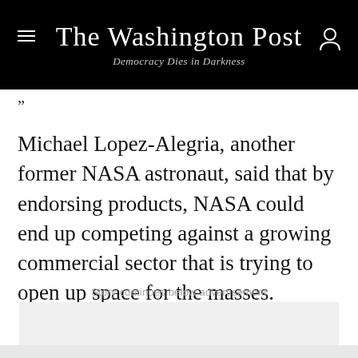The Washington Post — Democracy Dies in Darkness
”
Michael Lopez-Alegria, another former NASA astronaut, said that by endorsing products, NASA could end up competing against a growing commercial sector that is trying to open up space for the masses.
Story continues below advertisement